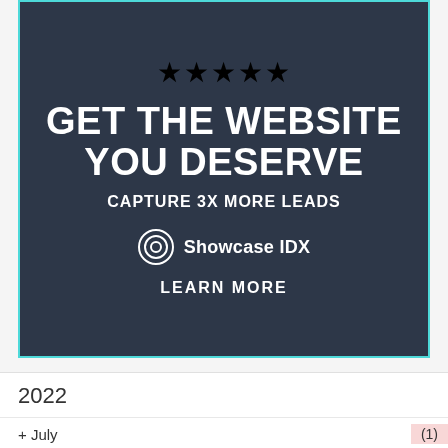[Figure (infographic): Advertisement banner with dark navy background and teal border. Shows 5 gold stars, headline 'GET THE WEBSITE YOU DESERVE', subheadline 'CAPTURE 3X MORE LEADS', Showcase IDX logo and 'LEARN MORE' call to action.]
2022
+ July (1)
+ June (1)